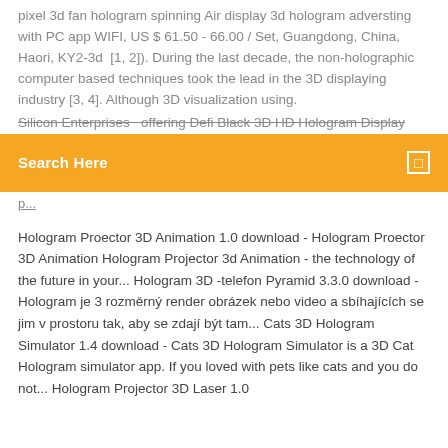pixel 3d fan hologram spinning Air display 3d hologram adversting with PC app WIFI, US $ 61.50 - 66.00 / Set, Guangdong, China, Haori, KY2-3d  [1, 2]). During the last decade, the non-holographic computer based techniques took the lead in the 3D displaying industry [3, 4]. Although 3D visualization using. Silicon Enterprises  offering Defi Black 3D HD Hologram Display
Search Here
Hologram Proector 3D Animation 1.0 download - Hologram Proector 3D Animation Hologram Projector 3d Animation - the technology of the future in your... Hologram 3D -telefon Pyramid 3.3.0 download - Hologram je 3 rozměrný render obrázek nebo video a sbíhajících se jim v prostoru tak, aby se zdají být tam... Cats 3D Hologram Simulator 1.4 download - Cats 3D Hologram Simulator is a 3D Cat Hologram simulator app. If you loved with pets like cats and you do not... Hologram Projector 3D Laser 1.0